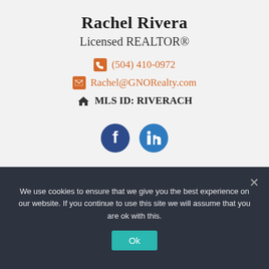Rachel Rivera
Licensed REALTOR®
(504) 410-0972
Rachel@GNORealty.com
MLS ID: RIVERACH
[Figure (logo): Facebook and LinkedIn social media icons]
We use cookies to ensure that we give you the best experience on our website. If you continue to use this site we will assume that you are ok with this.